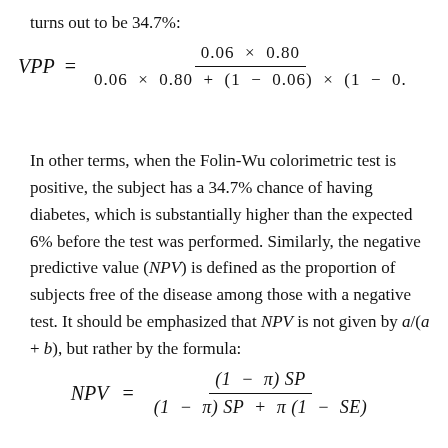turns out to be 34.7%:
In other terms, when the Folin-Wu colorimetric test is positive, the subject has a 34.7% chance of having diabetes, which is substantially higher than the expected 6% before the test was performed. Similarly, the negative predictive value (NPV) is defined as the proportion of subjects free of the disease among those with a negative test. It should be emphasized that NPV is not given by a/(a + b), but rather by the formula: